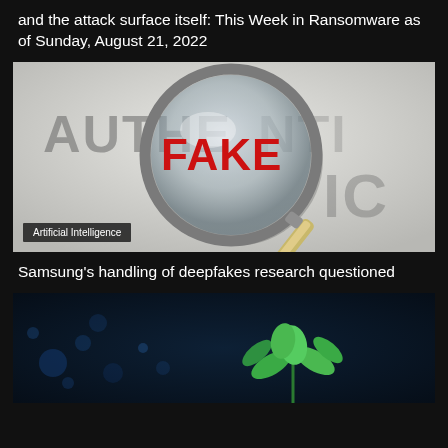and the attack surface itself: This Week in Ransomware as of Sunday, August 21, 2022
[Figure (photo): A magnifying glass over the word AUTHENTIC revealing the word FAKE in red underneath, suggesting deepfake or deception. The image is used to illustrate an article about deepfakes research.]
Artificial Intelligence
Samsung's handling of deepfakes research questioned
[Figure (photo): Dark background with blue bokeh lights and a green plant seedling growing, suggesting AI or technology growth theme.]